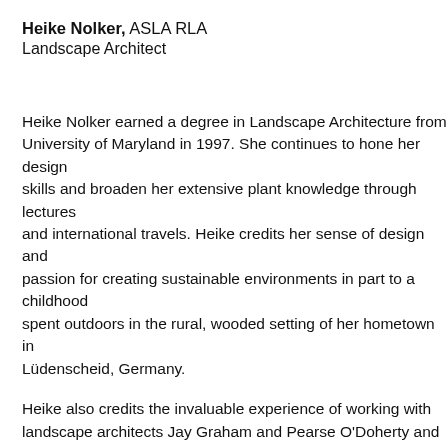Heike Nolker, ASLA RLA
Landscape Architect
Heike Nolker earned a degree in Landscape Architecture from University of Maryland in 1997. She continues to hone her design skills and broaden her extensive plant knowledge through lectures and international travels. Heike credits her sense of design and passion for creating sustainable environments in part to a childhood spent outdoors in the rural, wooded setting of her hometown in Lüdenscheid, Germany.
Heike also credits the invaluable experience of working with landscape architects Jay Graham and Pearse O'Doherty and renowned landscape designer Jane MacLeish. Her own style reflects the unique influence of each mentor: Jay Graham with his strong architectural background, Pearse O'Doherty with his love for color and Jane MacLeish with her brilliant approaches to planting.
Central to her own philosophy and style, Heike seeks to enhance the character of a site by connecting it to its environment— extending